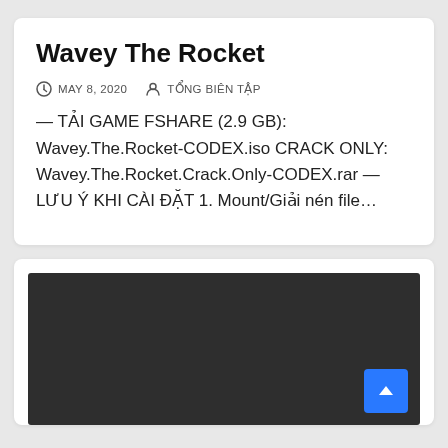Wavey The Rocket
MAY 8, 2020   TỔNG BIÊN TẬP
— TẢI GAME FSHARE (2.9 GB): Wavey.The.Rocket-CODEX.iso CRACK ONLY: Wavey.The.Rocket.Crack.Only-CODEX.rar — LƯU Ý KHI CÀI ĐẶT 1. Mount/Giải nén file…
[Figure (other): Dark video player embed area with a blue scroll-to-top button in the bottom right corner]